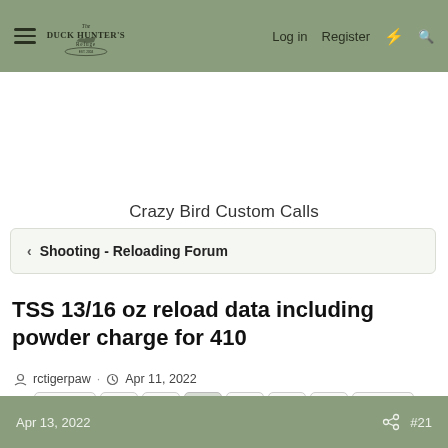Duck Hunter's Refuge — Log in  Register
Crazy Bird Custom Calls
Shooting - Reloading Forum
TSS 13/16 oz reload data including powder charge for 410
rctigerpaw · Apr 11, 2022
« Prev  1  2  3  4  5  6  Next »
Apr 13, 2022   #21